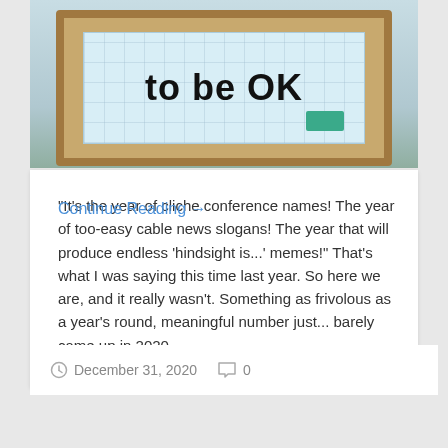[Figure (photo): Photo of a cork-framed sign board with the text 'to be OK' in large black letters on a light blue grid background, with a teal rectangle element at the bottom right of the sign frame.]
"It's the year of cliche conference names! The year of too-easy cable news slogans! The year that will produce endless 'hindsight is...' memes!" That's what I was saying this time last year. So here we are, and it really wasn't. Something as frivolous as a year's round, meaningful number just... barely came up in 2020....
Continue Reading →
December 31, 2020   0